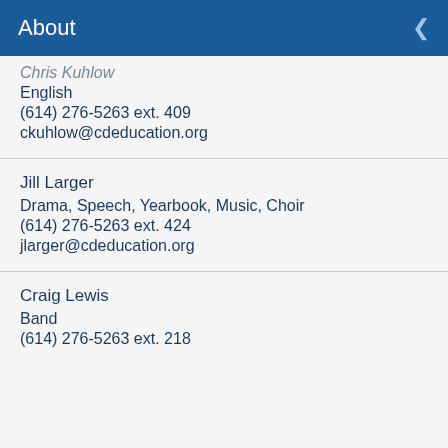About
Chris Kuhlow
English
(614) 276-5263 ext. 409
ckuhlow@cdeducation.org
Jill Larger
Drama, Speech, Yearbook, Music, Choir
(614) 276-5263 ext. 424
jlarger@cdeducation.org
Craig Lewis
Band
(614) 276-5263 ext. 218